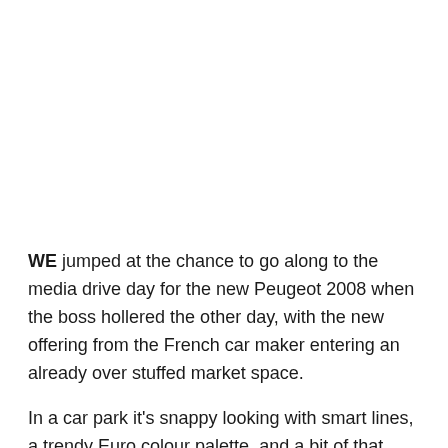WE jumped at the chance to go along to the media drive day for the new Peugeot 2008 when the boss hollered the other day, with the new offering from the French car maker entering an already over stuffed market space.
In a car park it's snappy looking with smart lines, a trendy Euro colour palette, and a bit of that nebulous French quality 'je ne sais quoi'.